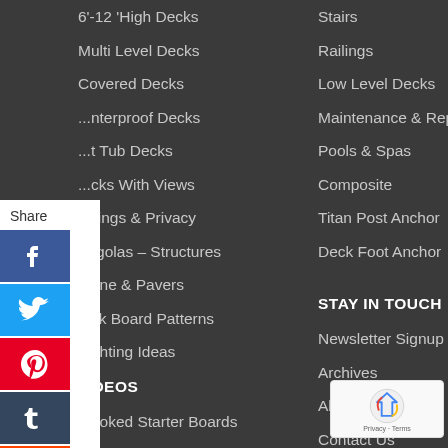6'-12 'High Decks
Multi Level Decks
Covered Decks
Waterproof Decks
Hot Tub Decks
Decks With Views
Railings & Privacy
Pergolas – Structures
Stone & Pavers
Deck Board Patterns
Lighting Ideas
VIDEOS
Crooked Starter Boards
First Board
Deck Protector
Beginner's Guide Post Anchor Install
Mistakes to Avoid
Stairs
Railings
Low Level Decks
Maintenance & Repair
Pools & Spas
Composite
Titan Post Anchor
Deck Foot Anchor
STAY IN TOUCH
Newsletter Signup
Archives
About Us
Contact Us
What's New
Sitemap
Privacy
Sign in